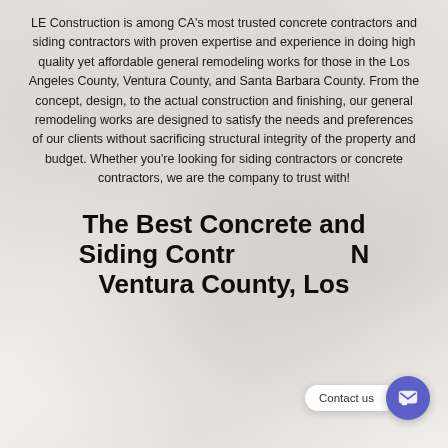LE Construction is among CA's most trusted concrete contractors and siding contractors with proven expertise and experience in doing high quality yet affordable general remodeling works for those in the Los Angeles County, Ventura County, and Santa Barbara County. From the concept, design, to the actual construction and finishing, our general remodeling works are designed to satisfy the needs and preferences of our clients without sacrificing structural integrity of the property and budget. Whether you're looking for siding contractors or concrete contractors, we are the company to trust with!
The Best Concrete and Siding Contractors in Ventura County, Los